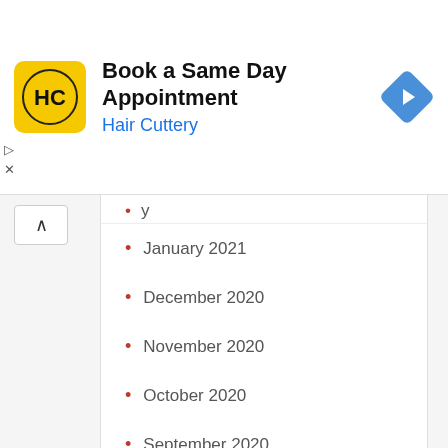[Figure (infographic): Hair Cuttery advertisement banner: yellow logo with HC letters, bold title 'Book a Same Day Appointment', subtitle 'Hair Cuttery' in blue, and a blue diamond-shaped arrow icon on the right.]
January 2021
December 2020
November 2020
October 2020
September 2020
August 2020
July 2020
June 2020
May 2020